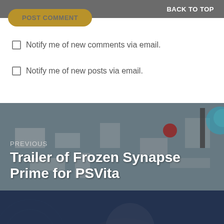BACK TO TOP
POST COMMENT
Notify me of new comments via email.
Notify me of new posts via email.
[Figure (screenshot): Game screenshot showing top-down view of Frozen Synapse Prime tactical game with units and objects on a grey map]
PREVIOUS
Trailer of Frozen Synapse Prime for PSVita
[Figure (illustration): Fantasy artwork showing a female warrior character with a weapon in a blue-toned battle scene for Battle Realms]
NEXT
Greenlight Game of the Week: Battle Realms